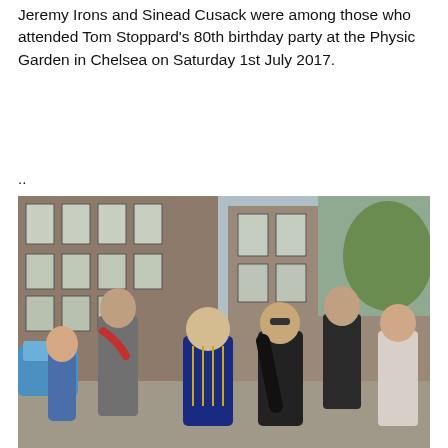Jeremy Irons and Sinead Cusack were among those who attended Tom Stoppard's 80th birthday party at the Physic Garden in Chelsea on Saturday 1st July 2017.
..
[Figure (photo): Group of people walking on a street, including a tall man in a grey suit with a red scarf, a woman in a navy military-style jacket, a woman in black with sunglasses, a man in black behind, and a young boy in a blue checked shirt in the foreground left. Background shows brick buildings with white-framed windows and parked cars.]